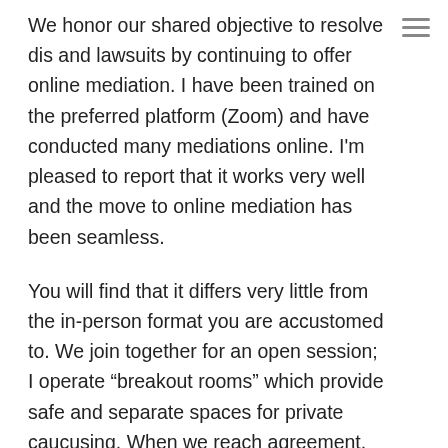We honor our shared objective to resolve dis and lawsuits by continuing to offer online mediation. I have been trained on the preferred platform (Zoom) and have conducted many mediations online. I'm pleased to report that it works very well and the move to online mediation has been seamless.
You will find that it differs very little from the in-person format you are accustomed to. We join together for an open session; I operate “breakout rooms” which provide safe and separate spaces for private caucusing. When we reach agreement, the attorneys and I work together (on screen) to craft a settlement agreement which I can then circulate online for signature. Within an hour